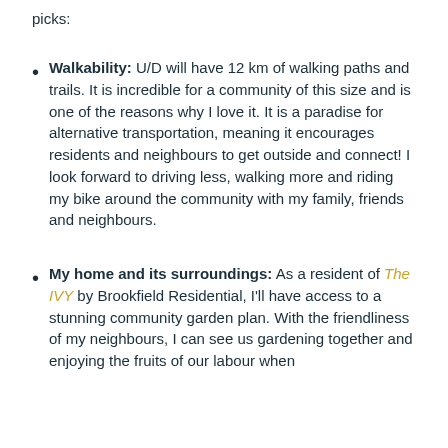picks:
Walkability: U/D will have 12 km of walking paths and trails. It is incredible for a community of this size and is one of the reasons why I love it. It is a paradise for alternative transportation, meaning it encourages residents and neighbours to get outside and connect! I look forward to driving less, walking more and riding my bike around the community with my family, friends and neighbours.
My home and its surroundings: As a resident of The IVY by Brookfield Residential, I'll have access to a stunning community garden plan. With the friendliness of my neighbours, I can see us gardening together and enjoying the fruits of our labour when